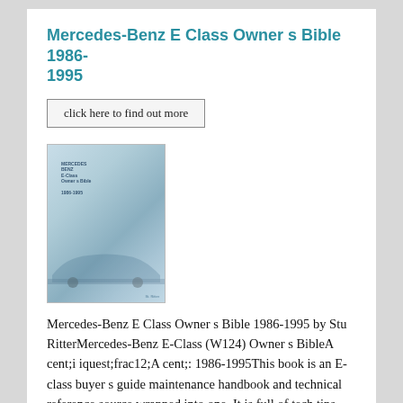Mercedes-Benz E Class Owner s Bible 1986-1995
[Figure (illustration): Book cover image of Mercedes-Benz E Class Owner s Bible 1986-1995 showing a car silhouette on a blue-grey background]
Mercedes-Benz E Class Owner s Bible 1986-1995 by Stu RitterMercedes-Benz E-Class (W124) Owner s BibleA cent;i iquest;frac12;A cent;: 1986-1995This book is an E-class buyer s guide maintenance handbook and technical reference source wrapped into one. It is full of tech tips service hints and system descriptions plus lots of insightful information about the W124 E-